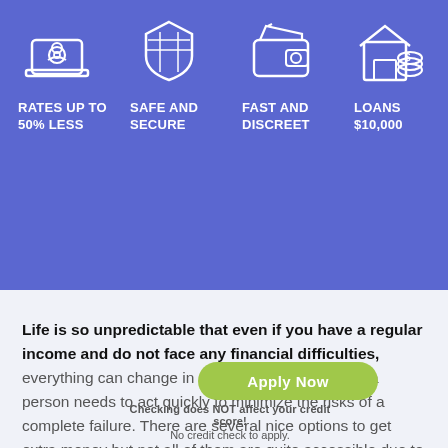[Figure (infographic): Four feature icons on blue background: laptop icon with 'RATES UP TO 50% LESS', shield icon with 'SAFE AND SECURE', wallet icon with 'FAST AND DISCREET', house/dollar icon with 'LOANS $10,000']
Life is so unpredictable that even if you have a regular income and do not face any financial difficulties, everything can change in a minute. In such cases, a person needs to act quickly to minimize the risks of a complete failure. There are several nice options to get extra money but not all of them are quite accessible due to various reasons. If you don't have much time to wait until the bank
Apply Now
Checking does NOT affect your credit score! No credit check to apply.